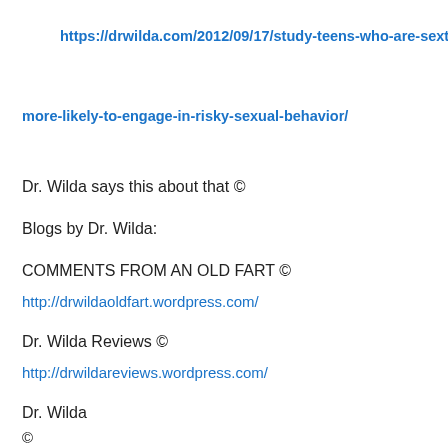https://drwilda.com/2012/09/17/study-teens-who-are-sexting-
more-likely-to-engage-in-risky-sexual-behavior/
Dr. Wilda says this about that ©
Blogs by Dr. Wilda:
COMMENTS FROM AN OLD FART ©
http://drwildaoldfart.wordpress.com/
Dr. Wilda Reviews ©
http://drwildareviews.wordpress.com/
Dr. Wilda
©